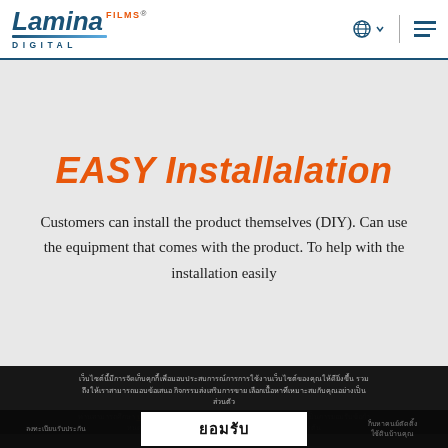[Figure (logo): Lamina Films Digital logo in blue with orange accent, with wavy underline and DIGITAL text beneath]
EASY Installalation
Customers can install the product themselves (DIY). Can use the equipment that comes with the product. To help with the installation easily
เว็บไซต์นี้มีการจัดเก็บคุกกี้ เพื่อมอบประสบการณ์การการใช้งานเว็บไซต์ของคุณให้ดียิ่งขึ้น รวมถึงให้เราสามารถมอบข้อเสนอ กิจกรรมส่งเสริมการขาย เลือกเนื้อหาที่เหมาะสมกับคุณอย่างเป็นส่วนตัว
ท่านสามารถศึกษา นโยบายการเก็บและใช้คุกกี้ ได้ที่นี่ การใช้งานเว็บไซต์นี้เป็นการยอมรับข้อกำหนดและยินยอมให้เราจัดเก็บคุกกี้ตามนโยบายที่แจ้งในเบื้องต้น
ยอมรับ